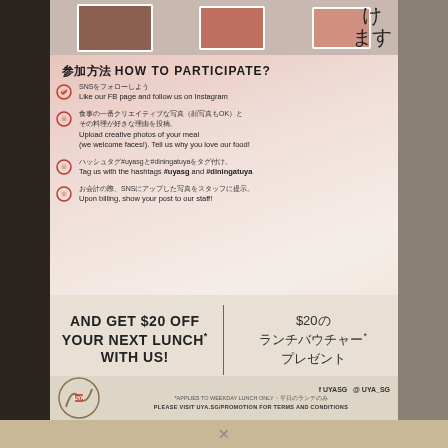[Figure (photo): Restaurant promotional flyer/card displayed on a wooden table in a Japanese restaurant setting. Shows a pink watercolor background with Japanese and English text about a social media participation promotion.]
参加方法 HOW TO PARTICIPATE?
SNSをフォローしよう
Like our FB page and follow us on Instagram
食事の一番クリエイティブな写真（顔写真もOK）と
その料理が好きな理由を投稿。
Upload creative photos of your meal
(we welcome faces!). Tell us why you love our food!
ハッシュタグ#uyasgと#diningatuyaをタグ付け。
Tag us with the hashtags #uyasg and #diningatuya
お会計の際、SNSにアップした写真をスタッフに提示。
Upon billing, show your post to our staff!
AND GET $20 OFF YOUR NEXT LUNCH* WITH US!
$20の
ランチバウチャー*
プレゼント
f UYASG  @ UYA_SG
*APPLIES TO WEEKDAY LUNCH ONLY・平日のランチのみ
PLEASE VISIT UYA.SG/PROMOTION FOR TERMS AND CONDITIONS